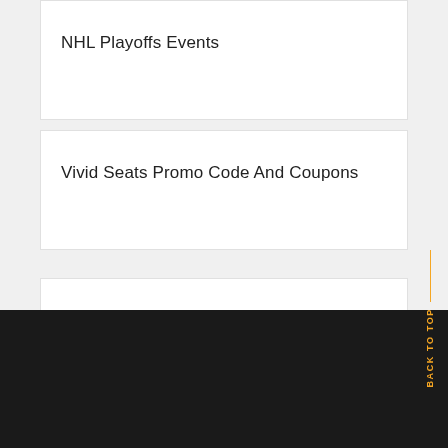NHL Playoffs Events
Vivid Seats Promo Code And Coupons
RECENT COMMENTS
BACK TO TOP